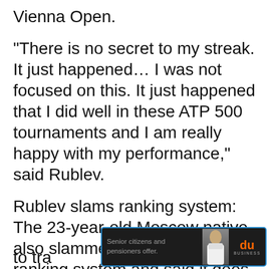Vienna Open.
“There is no secret to my streak. It just happened… I was not focused on this. It just happened that I did well in these ATP 500 tournaments and I am really happy with my performance,” said Rublev.
Rublev slams ranking system: The 23-year-old Moscow native also slammed the current ATP ranking system and said it does not work in his favour.
ATP introduced the revised ranking system
[Figure (screenshot): Advertisement banner for 'du Business' with text 'Senior citizens and pensioners offer.' showing a man in traditional Arab dress and orange 'du' logo with 'BUSINESS' text below.]